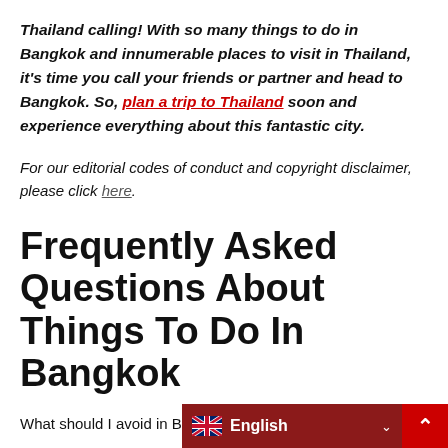Thailand calling! With so many things to do in Bangkok and innumerable places to visit in Thailand, it's time you call your friends or partner and head to Bangkok. So, plan a trip to Thailand soon and experience everything about this fantastic city.
For our editorial codes of conduct and copyright disclaimer, please click here.
Frequently Asked Questions About Things To Do In Bangkok
What should I avoid in Bangkok?